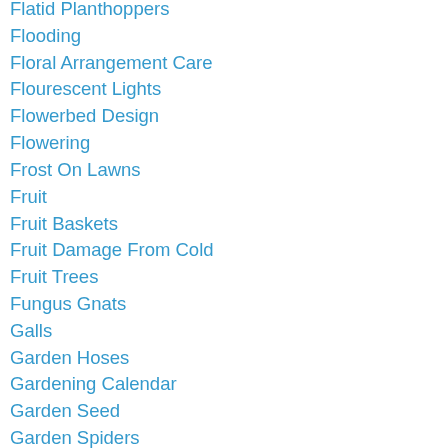Flatid Planthoppers
Flooding
Floral Arrangement Care
Flourescent Lights
Flowerbed Design
Flowering
Frost On Lawns
Fruit
Fruit Baskets
Fruit Damage From Cold
Fruit Trees
Fungus Gnats
Galls
Garden Hoses
Gardening Calendar
Garden Seed
Garden Spiders
Garden Tool Care
Garlic
Goldenrod Soldier Beetle
Grapes